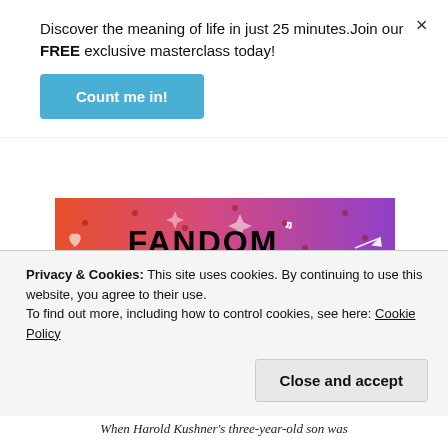Discover the meaning of life in just 25 minutes.Join our FREE exclusive masterclass today!
Count me in!
[Figure (illustration): Colorful Tumblr 'Fandom on Tumblr' promotional image with orange-to-purple gradient background, white doodles, bold black text reading FANDOM ON tumblr, cartoon spider and leaf characters]
Privacy & Cookies: This site uses cookies. By continuing to use this website, you agree to their use.
To find out more, including how to control cookies, see here: Cookie Policy
Close and accept
When Harold Kushner's three-year-old son was